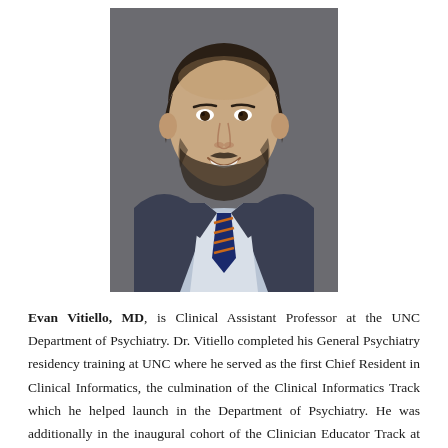[Figure (photo): Professional headshot of Evan Vitiello, MD. A young man with short dark hair and a beard, wearing a dark navy suit jacket, light blue dress shirt, and a navy and orange striped tie. He is smiling, photographed against a dark gray background.]
Evan Vitiello, MD, is Clinical Assistant Professor at the UNC Department of Psychiatry. Dr. Vitiello completed his General Psychiatry residency training at UNC where he served as the first Chief Resident in Clinical Informatics, the culmination of the Clinical Informatics Track which he helped launch in the Department of Psychiatry. He was additionally in the inaugural cohort of the Clinician Educator Track at UNC for